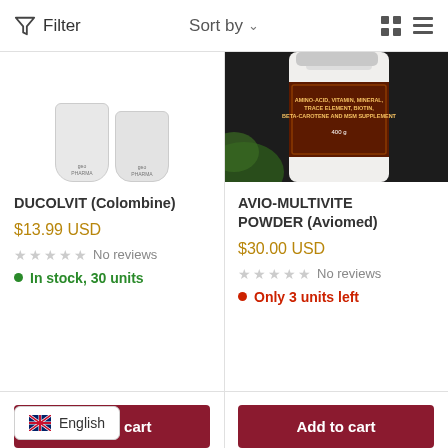Filter   Sort by   (grid/list icons)
[Figure (photo): Two white cylindrical supplement containers, partially visible from above]
[Figure (photo): White supplement bottle with dark label reading AMINO-ACID, VITAMIN, MINERAL, TRACE ELEMENT, BIOTIN, BETA-CAROTENE AND MSM SUPPLEMENT, 400g, on dark background with green leaves]
DUCOLVIT (Colombine)
$13.99 USD
★★★★★ No reviews
● In stock, 30 units
Add to cart
AVIO-MULTIVITE POWDER (Aviomed)
$30.00 USD
★★★★★ No reviews
● Only 3 units left
Add to cart
🇬🇧 English